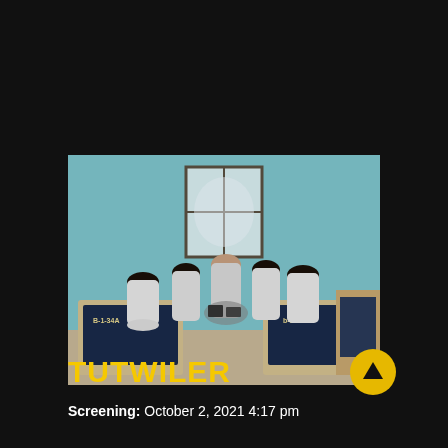[Figure (photo): Photo of women in white prison uniforms sitting in a circle on beds in a light blue prison room, looking at items together. Beds labeled B-1-34A and b-1-35A visible in foreground.]
TUTWILER
Screening: October 2, 2021 4:17 pm